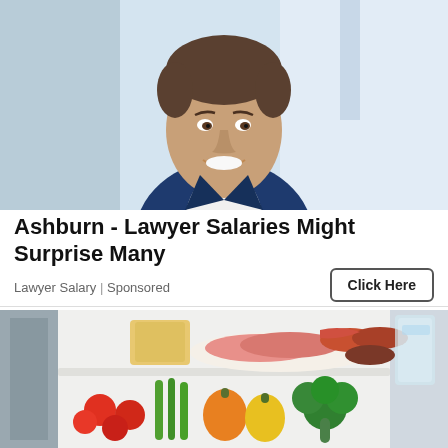[Figure (photo): Professional man in navy blue blazer and white shirt, smiling, office/window background]
Ashburn - Lawyer Salaries Might Surprise Many
Lawyer Salary | Sponsored
Click Here
[Figure (photo): Open refrigerator shelf with meats, sausages, and fresh vegetables including peppers, tomatoes, broccoli, and green onions]